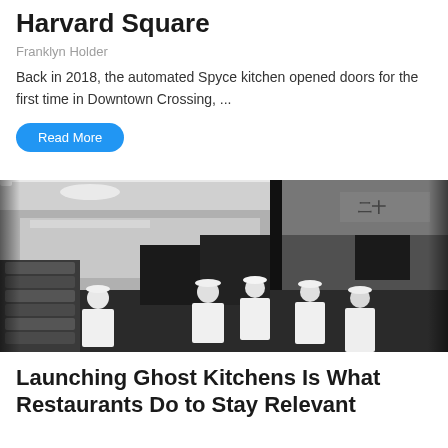Harvard Square
Franklyn Holder
Back in 2018, the automated Spyce kitchen opened doors for the first time in Downtown Crossing, ...
Read More
[Figure (photo): Black and white photo of kitchen workers in white uniforms and caps working in a commercial kitchen with stainless steel equipment and glass partitions]
Launching Ghost Kitchens Is What Restaurants Do to Stay Relevant